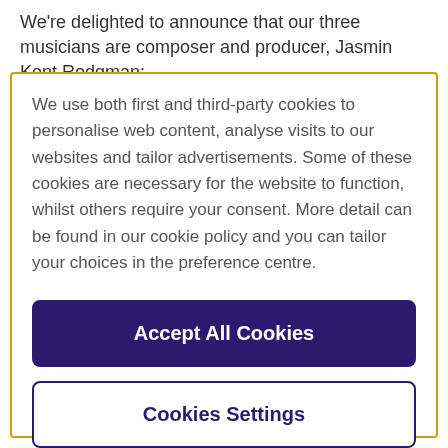We're delighted to announce that our three musicians are composer and producer, Jasmin Kent Rodgman;
We use both first and third-party cookies to personalise web content, analyse visits to our websites and tailor advertisements. Some of these cookies are necessary for the website to function, whilst others require your consent. More detail can be found in our cookie policy and you can tailor your choices in the preference centre.
Accept All Cookies
Cookies Settings